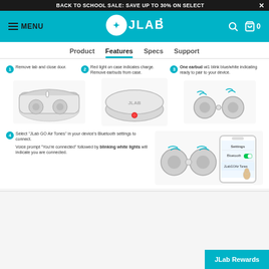BACK TO SCHOOL SALE: SAVE UP TO 30% ON SELECT  ×
[Figure (screenshot): JLab website navigation bar with hamburger menu, MENU text, JLab logo, search icon, and shopping bag icon with 0 count on teal/cyan background]
Product  Features  Specs  Support
[Figure (infographic): JLab GO Air Tones earbuds pairing instructions with 4 numbered steps and product illustrations. Step 1: Remove tab and close door (image of earbuds case open). Step 2: Red light on case indicates charge. Remove earbuds from case (image of closed case with red indicator light). Step 3: One earbud wil blink blue/white indicating ready to pair to your device (image of two earbuds with Bluetooth signals). Step 4: Select 'JLab GO Air Tones' in your device's Bluetooth settings to connect. Voice prompt 'You're connected' followed by blinking white lights will indicate you are connected (image of earbuds and phone showing Bluetooth settings with JLab GO Air Tones selected).]